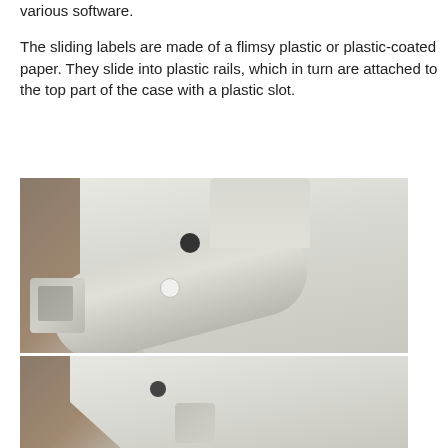various software.
The sliding labels are made of a flimsy plastic or plastic-coated paper. They slide into plastic rails, which in turn are attached to the top part of the case with a plastic slot.
[Figure (photo): Close-up photograph of a white plastic computer case mechanism showing a cylindrical hinge/rail component with a small square clip on the left, a circular hole, and a bracket on top. The case is beige/white and sits on what appears to be a wooden surface with sky visible in the background.]
[Figure (photo): Partial close-up photograph of a similar white plastic computer case component, showing the bottom portion of the same or similar mechanism, with a small grey square piece visible at the bottom.]